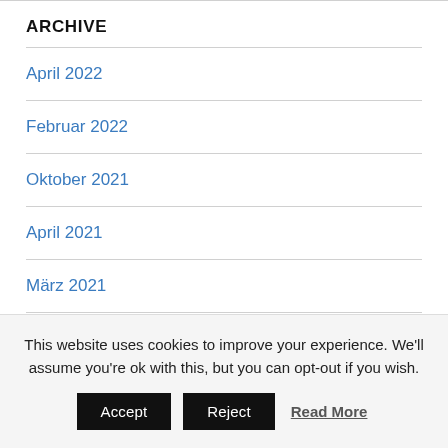ARCHIVE
April 2022
Februar 2022
Oktober 2021
April 2021
März 2021
Mai 2020
This website uses cookies to improve your experience. We'll assume you're ok with this, but you can opt-out if you wish.
Accept | Reject | Read More